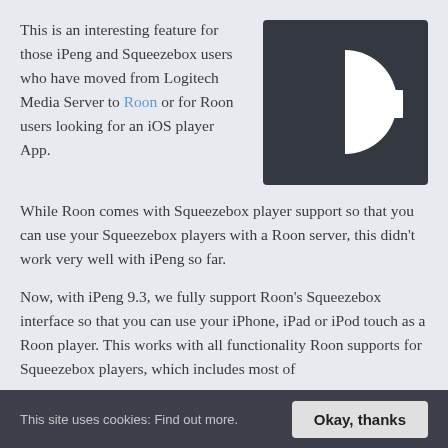This is an interesting feature for those iPeng and Squeezebox users who have moved from Logitech Media Server to Roon or for Roon users looking for an iOS player App.
[Figure (logo): Dark square app icon with a stylized half-circle and vertical bar/waveform graphic in white on dark slate background]
While Roon comes with Squeezebox player support so that you can use your Squeezebox players with a Roon server, this didn't work very well with iPeng so far.
Now, with iPeng 9.3, we fully support Roon's Squeezebox interface so that you can use your iPhone, iPad or iPod touch as a Roon player. This works with all functionality Roon supports for Squeezebox players, which includes most of
This site uses cookies: Find out more.
Okay, thanks